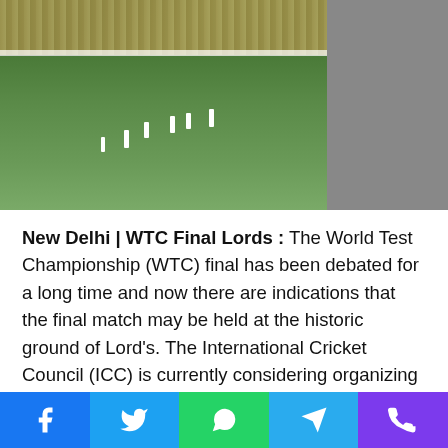[Figure (photo): Cricket match at Lord's ground — players on green outfield with spectator stands in background, partial grey/blurred panel on right side]
New Delhi | WTC Final Lords : The World Test Championship (WTC) final has been debated for a long time and now there are indications that the final match may be held at the historic ground of Lord's. The International Cricket Council (ICC) is currently considering organizing the final match at Lord's. The final match of the WTC played last year was to be played at Lord's but due to the Corona epidemic it was played in Southampton. At that time, Corona related restrictions were being removed in the UK. This is the reason why the final match could not be played at Lord's even at that time. At that time, New Zealand became the first World Test